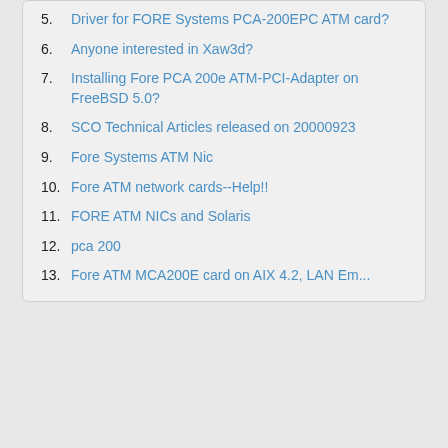5. Driver for FORE Systems PCA-200EPC ATM card?
6. Anyone interested in Xaw3d?
7. Installing Fore PCA 200e ATM-PCI-Adapter on FreeBSD 5.0?
8. SCO Technical Articles released on 20000923
9. Fore Systems ATM Nic
10. Fore ATM network cards--Help!!
11. FORE ATM NICs and Solaris
12. pca 200
13. Fore ATM MCA200E card on AIX 4.2, LAN Em...
All times are UTC
Board index
Spam Report